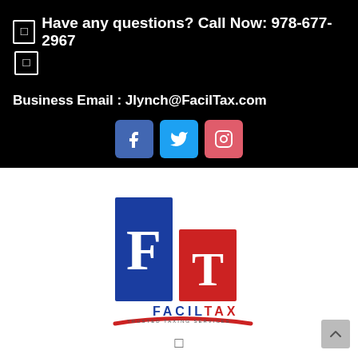📞 Have any questions? Call Now: 978-677-2967
Business Email : Jlynch@FacilTax.com
[Figure (logo): Social media icons: Facebook (blue), Twitter (light blue), Instagram (pink-red) as rounded square buttons]
[Figure (logo): FacilTax logo: Blue rectangle with white letter F, Red rectangle with white letter T, text FACILTAX below, tagline TRUSTED TAXING SERVICES with red swoosh underline]